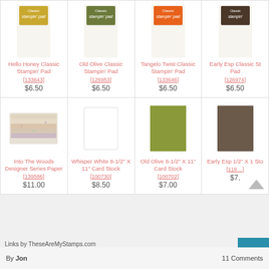[Figure (screenshot): Product grid showing stamp pads and card stock items from Stampin' Up catalog]
| Product 1 | Product 2 | Product 3 | Product 4 |
| --- | --- | --- | --- |
| Hello Honey Classic Stampin' Pad [133643] $6.50 | Old Olive Classic Stampin' Pad [126953] $6.50 | Tangelo Twist Classic Stampin' Pad [133646] $6.50 | Early Esp Classic St Pad [126974] $6.50 |
| Into The Woods Designer Series Paper [139586] $11.00 | Whisper White 8-1/2" X 11" Card Stock [100730] $8.50 | Old Olive 8-1/2" X 11" Card Stock [100702] $7.00 | Early Esp 1/2" X 1 Sto [119...] $7. |
Links by TheseAreMyStamps.com
By Jon
11 Comments